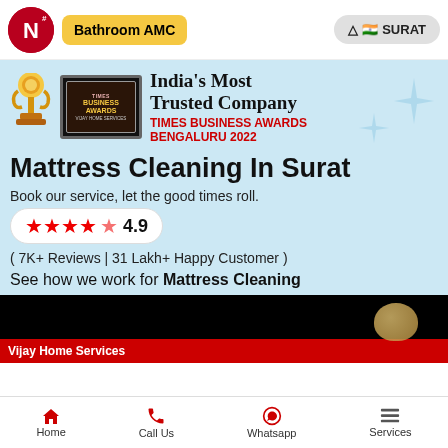Bathroom AMC | SURAT
[Figure (screenshot): Award banner showing trophy and plaque: India's Most Trusted Company, TIMES BUSINESS AWARDS BENGALURU 2022]
Mattress Cleaning In Surat
Book our service, let the good times roll.
★★★★½ 4.9
( 7K+ Reviews | 31 Lakh+ Happy Customer )
See how we work for Mattress Cleaning
[Figure (screenshot): Video thumbnail showing Vijay Home Services branding with red bar at bottom]
Home | Call Us | Whatsapp | Services